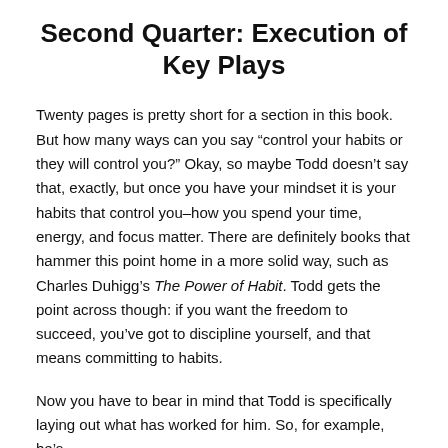Second Quarter: Execution of Key Plays
Twenty pages is pretty short for a section in this book. But how many ways can you say “control your habits or they will control you?” Okay, so maybe Todd doesn’t say that, exactly, but once you have your mindset it is your habits that control you–how you spend your time, energy, and focus matter. There are definitely books that hammer this point home in a more solid way, such as Charles Duhigg’s The Power of Habit. Todd gets the point across though: if you want the freedom to succeed, you’ve got to discipline yourself, and that means committing to habits.
Now you have to bear in mind that Todd is specifically laying out what has worked for him. So, for example, he’s